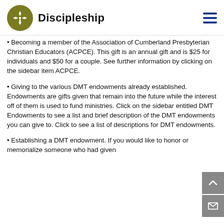[Figure (logo): Discipleship ministry logo: olive/dark yellow circle with a cross-arrow symbol, followed by bold text 'Discipleship']
Becoming a member of the Association of Cumberland Presbyterian Christian Educators (ACPCE). This gift is an annual gift and is $25 for individuals and $50 for a couple. See further information by clicking on the sidebar item ACPCE.
Giving to the various DMT endowments already established. Endowments are gifts given that remain into the future while the interest off of them is used to fund ministries. Click on the sidebar entitled DMT Endowments to see a list and brief description of the DMT endowments you can give to. Click to see a list of descriptions for DMT endowments.
Establishing a DMT endowment. If you would like to honor or memorialize someone who had given